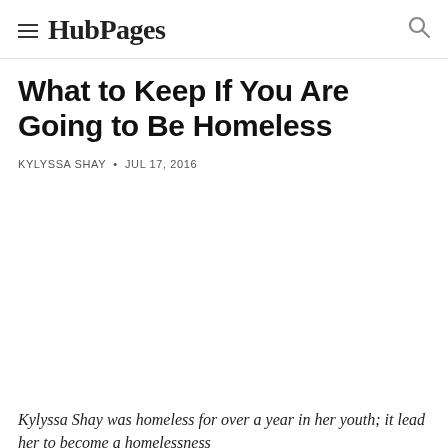HubPages
What to Keep If You Are Going to Be Homeless
KYLYSSA SHAY • JUL 17, 2016
[Figure (photo): Blank/white image placeholder area]
Kylyssa Shay was homeless for over a year in her youth; it lead her to become a homelessness